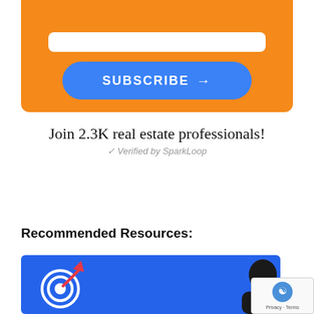[Figure (infographic): Orange background subscription panel with a white input bar and a blue rounded SUBSCRIBE button with arrow]
Join 2.3K real estate professionals!
✓ Verified by SparkLoop
Recommended Resources:
[Figure (infographic): Blue banner with a target/goal icon and a person image, for recommended resources section]
[Figure (other): reCAPTCHA badge with Privacy and Terms links]